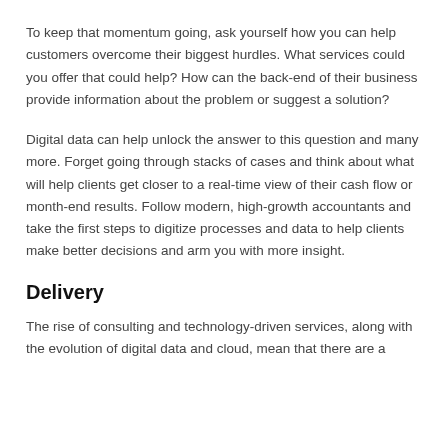To keep that momentum going, ask yourself how you can help customers overcome their biggest hurdles. What services could you offer that could help? How can the back-end of their business provide information about the problem or suggest a solution?
Digital data can help unlock the answer to this question and many more. Forget going through stacks of cases and think about what will help clients get closer to a real-time view of their cash flow or month-end results. Follow modern, high-growth accountants and take the first steps to digitize processes and data to help clients make better decisions and arm you with more insight.
Delivery
The rise of consulting and technology-driven services, along with the evolution of digital data and cloud, mean that there are a